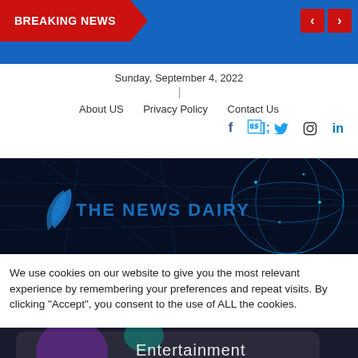BREAKING NEWS
Sunday, September 4, 2022
About US   Privacy Policy   Contact Us
[Figure (logo): THE NEWS DAIRY logo banner with blue digital globe network background]
We use cookies on our website to give you the most relevant experience by remembering your preferences and repeat visits. By clicking “Accept”, you consent to the use of ALL the cookies.
[Figure (photo): Phone screen showing Entertainment app folder with HBO and Disney+ app icons]